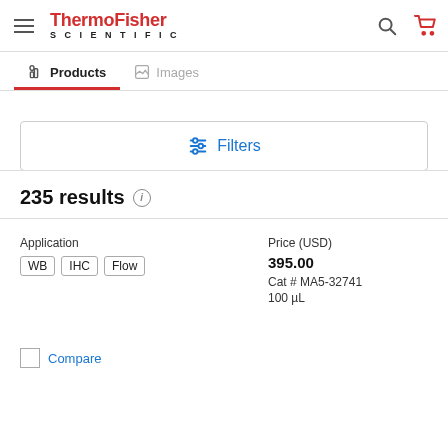[Figure (logo): ThermoFisher Scientific logo with hamburger menu, search icon, and cart icon in header navigation bar]
Products   Images
Filters
235 results
| Application | Price (USD) |
| --- | --- |
| WB  IHC  Flow | 395.00
Cat # MA5-32741
100 µL |
Compare